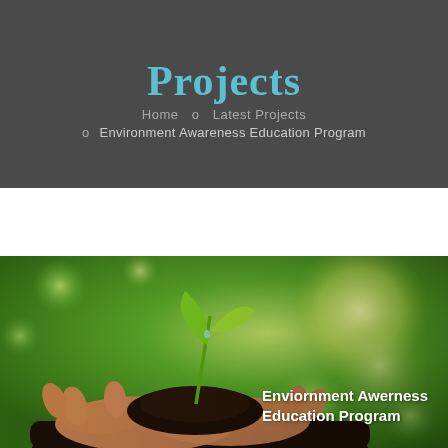Projects
Home  o  Latest Projects
o  Environment Awareness Education Program
[Figure (photo): Hands holding a small green seedling planted in dark soil, with a bright bokeh green and yellow background suggesting sunlight through foliage. White bold text overlay reads: Enviornment Awerness Education Program]
Enviornment Awerness Education Program